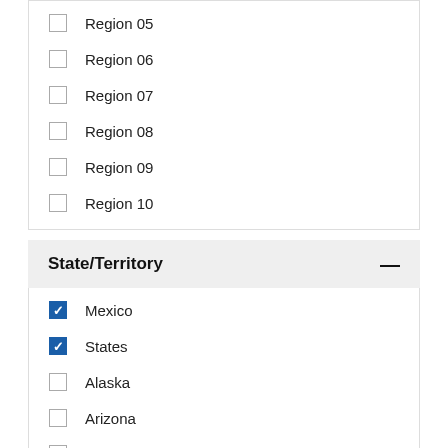Region 05
Region 06
Region 07
Region 08
Region 09
Region 10
State/Territory
Mexico
States
Alaska
Arizona
Arkansas